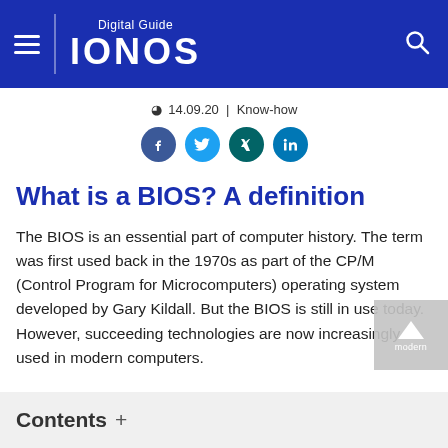Digital Guide IONOS
⊙ 14.09.20  |  Know-how
[Figure (other): Social media share icons: Facebook, Twitter, Xing, LinkedIn]
What is a BIOS? A definition
The BIOS is an essential part of computer history. The term was first used back in the 1970s as part of the CP/M (Control Program for Microcomputers) operating system developed by Gary Kildall. But the BIOS is still in use today. However, succeeding technologies are now increasingly used in modern computers.
Contents +